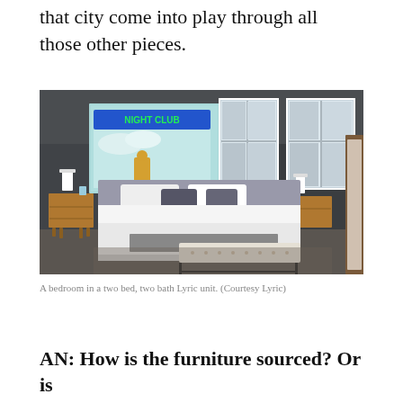that city come into play through all those other pieces.
[Figure (photo): A bedroom interior in a stylishly decorated apartment unit with dark gray walls, a gray upholstered bed, mid-century modern nightstands, a large artwork on the wall reading 'NIGHT CLUB', two windows with views of city buildings, and a tufted bench at the foot of the bed.]
A bedroom in a two bed, two bath Lyric unit. (Courtesy Lyric)
AN: How is the furniture sourced? Or is